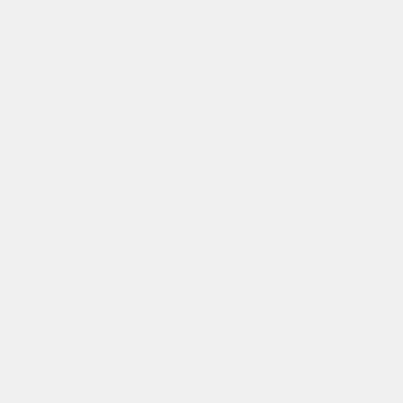| Date | Keyword |  |
| --- | --- | --- |
| 2014-09-22 | fundraising |  |
| 2014-09-20 | cdc |  |
| 2014-09-18 | delegates |  |
| 2014-09-17 | ballroom |  |
| 2014-09-16 | finance |  |
| 2014-09-16 | governance |  |
| 2014-09-15 | communications |  |
| 2014-09-13 | fundraising |  |
| 2014-09-13 | cdc |  |
| 2014-... |  |  |